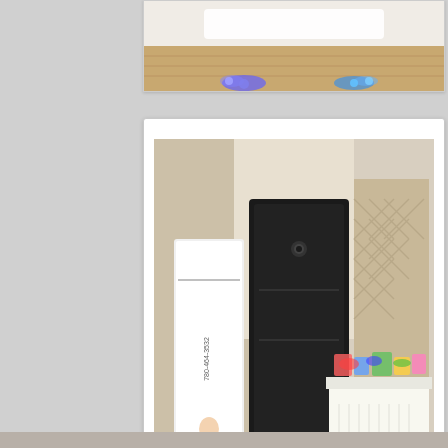[Figure (photo): Top partial photo showing a event venue interior with wood floor, a white table cover visible at top, and colorful blue/purple stage lights on the floor]
[Figure (photo): Photo booth setup in a venue room: a tall black enclosed photo booth unit in the center, an Equinox Sound & Entertainment banner/rollup stand on the left showing phone number 780-464-3532, and a prop table with white skirting on the right with colorful accessories. Hardwood floor and chevron-patterned wall panel visible.]
© 2020 Equinox Sound & Entertainment | DJ's | Photography | Video | Photo Booths |
Phone: 780-907-1761